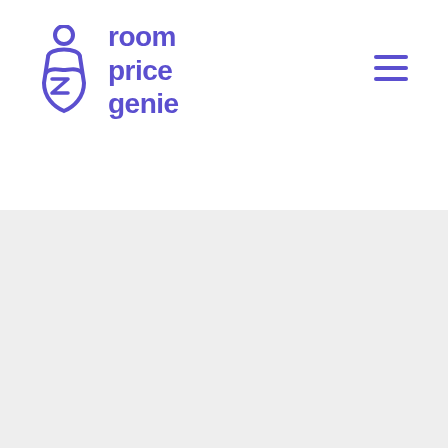[Figure (logo): RoomPriceGenie logo in purple — genie icon on left and 'room price genie' text in bold purple on right, top section on white background]
[Figure (logo): RoomPriceGenie logo in black — genie icon on left and 'room price genie' text in bold black on right, bottom section on light grey background]
RoomPriceGenie AG
Soodmattenstrasse 10